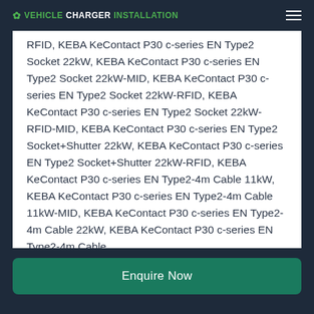VEHICLECHARGERINSTALLATION
RFID, KEBA KeContact P30 c-series EN Type2 Socket 22kW, KEBA KeContact P30 c-series EN Type2 Socket 22kW-MID, KEBA KeContact P30 c-series EN Type2 Socket 22kW-RFID, KEBA KeContact P30 c-series EN Type2 Socket 22kW-RFID-MID, KEBA KeContact P30 c-series EN Type2 Socket+Shutter 22kW, KEBA KeContact P30 c-series EN Type2 Socket+Shutter 22kW-RFID, KEBA KeContact P30 c-series EN Type2-4m Cable 11kW, KEBA KeContact P30 c-series EN Type2-4m Cable 11kW-MID, KEBA KeContact P30 c-series EN Type2-4m Cable 22kW, KEBA KeContact P30 c-series EN Type2-4m Cable 22kW-MID, KEBA KeContact P30 c-series EN
Enquire Now